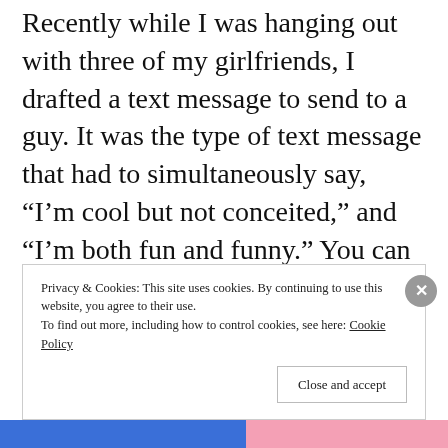Recently while I was hanging out with three of my girlfriends, I drafted a text message to send to a guy. It was the type of text message that had to simultaneously say, “I’m cool but not conceited,” and “I’m both fun and funny.” You can imagine the pressure.

After drafting the text message I did what any normal girl would do: I passed it
Privacy & Cookies: This site uses cookies. By continuing to use this website, you agree to their use.
To find out more, including how to control cookies, see here: Cookie Policy